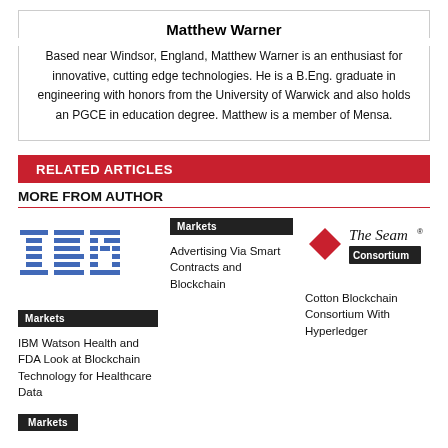Matthew Warner
Based near Windsor, England, Matthew Warner is an enthusiast for innovative, cutting edge technologies. He is a B.Eng. graduate in engineering with honors from the University of Warwick and also holds an PGCE in education degree. Matthew is a member of Mensa.
RELATED ARTICLES
MORE FROM AUTHOR
[Figure (logo): IBM logo in blue horizontal stripes]
Markets
IBM Watson Health and FDA Look at Blockchain Technology for Healthcare Data
Markets
Advertising Via Smart Contracts and Blockchain
[Figure (logo): The Seam logo with red diamond and Consortium badge]
Consortium
Cotton Blockchain Consortium With Hyperledger